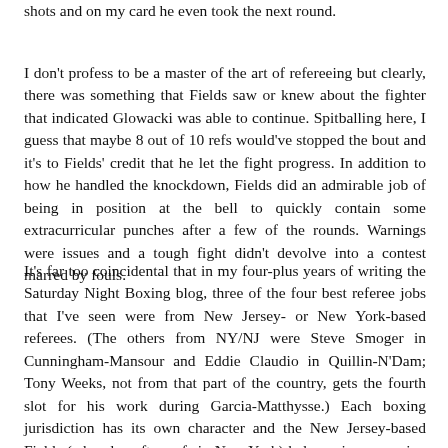shots and on my card he even took the next round.
I don't profess to be a master of the art of refereeing but clearly, there was something that Fields saw or knew about the fighter that indicated Glowacki was able to continue. Spitballing here, I guess that maybe 8 out of 10 refs would've stopped the bout and it's to Fields' credit that he let the fight progress. In addition to how he handled the knockdown, Fields did an admirable job of being in position at the bell to quickly contain some extracurricular punches after a few of the rounds. Warnings were issues and a tough fight didn't devolve into a contest marred by fouls.
It's far too coincidental that in my four-plus years of writing the Saturday Night Boxing blog, three of the four best referee jobs that I've seen were from New Jersey- or New York-based referees. (The others from NY/NJ were Steve Smoger in Cunningham-Mansour and Eddie Claudio in Quillin-N'Dam; Tony Weeks, not from that part of the country, gets the fourth slot for his work during Garcia-Matthysse.) Each boxing jurisdiction has its own character and the New Jersey-based Fields (who also often refs in New York) belongs in a grouping with several other New York/New Jersey referees who let fighters fight. I'd include Smoger, Claudio, Harvey